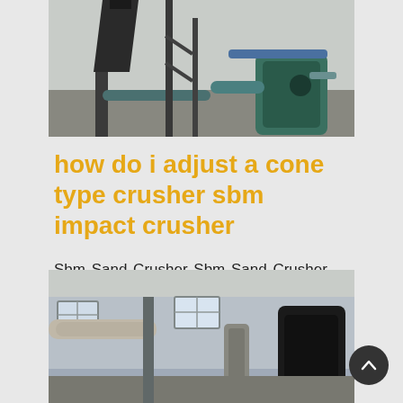[Figure (photo): Industrial machinery with pipes, metal framework and equipment in a factory setting]
how do i adjust a cone type crusher sbm impact crusher
Sbm Sand Crusher Sbm Sand Crusher Suppliers and Alibaba offers 1 429 sbm sand crusher products About 47 of these are crusher A wide variety of sbm sand crusher options are available to you such as jaw crusher cone crusher and hammer crusher Get Price cone
[Figure (photo): Industrial building interior with ductwork, pipes, windows and large equipment/machinery]